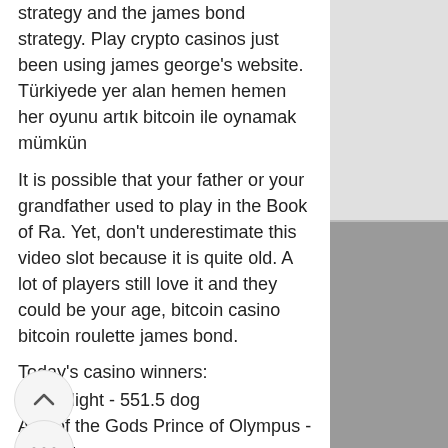strategy and the james bond strategy. Play crypto casinos just been using james george's website. Türkiyede yer alan hemen hemen her oyunu artık bitcoin ile oynamak mümkün
It is possible that your father or your grandfather used to play in the Book of Ra. Yet, don't underestimate this video slot because it is quite old. A lot of players still love it and they could be your age, bitcoin casino bitcoin roulette james bond.
Today's casino winners:
Dino Might - 551.5 dog
Age of the Gods Prince of Olympus - 221.4 ltc
The Epic Journey - 454 usdt
Jazz It Up - 136 bch
Admiral Nelson - 291.6 dog
Shou - 323.4 ltc
pillar - 623.7 eth
Jingle Bells - 340.6 btc